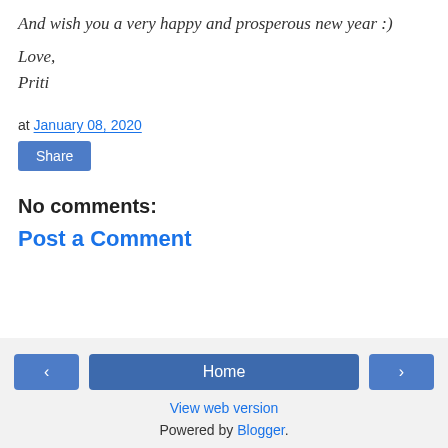And wish you a very happy and prosperous new year :)
Love,
Priti
at January 08, 2020
Share
No comments:
Post a Comment
< | Home | >
View web version
Powered by Blogger.